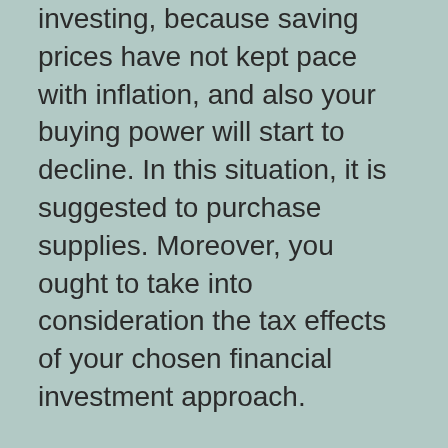investing, because saving prices have not kept pace with inflation, and also your buying power will start to decline. In this situation, it is suggested to purchase supplies. Moreover, you ought to take into consideration the tax effects of your chosen financial investment approach.
When taking into consideration investments, consider how to measure their performance in time. You may wish to check out the total market value trend. A traditional financier could be extra curious about the earnings that a stock can supply. In this instance, they may